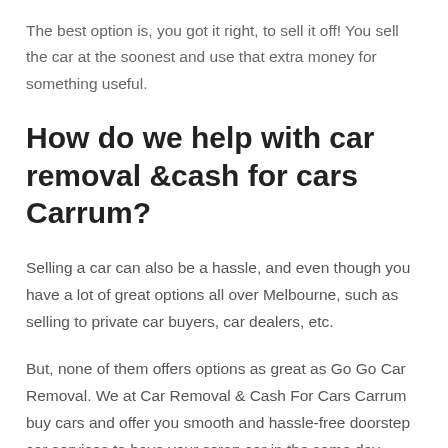The best option is, you got it right, to sell it off! You sell the car at the soonest and use that extra money for something useful.
How do we help with car removal &cash for cars Carrum?
Selling a car can also be a hassle, and even though you have a lot of great options all over Melbourne, such as selling to private car buyers, car dealers, etc.
But, none of them offers options as great as Go Go Car Removal. We at Car Removal & Cash For Cars Carrum buy cars and offer you smooth and hassle-free doorstep car services to have your scrap car in the same day process